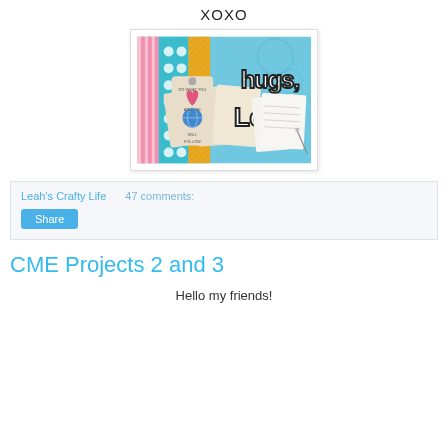XOXO
[Figure (illustration): Blog header image for 'Hugs, Leah' — colorful scrapbook-style collage with pink stripes, teal polka-dot pattern, orange patterned strip, decorative tags with text 'Do what you love and the (world) will follow', and hand-lettered text 'hugs, Leah' on a blue background.]
Leah's Crafty Life    47 comments:
Share
CME Projects 2 and 3
Hello my friends!